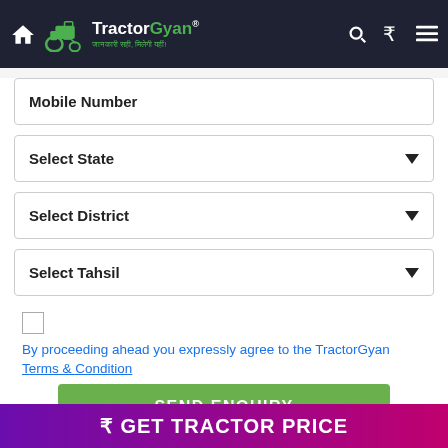TractorGyan - जानकारी सही, मिलेगी यहीं!
Mobile Number
Select State
Select District
Select Tahsil
By proceeding ahead you expressly agree to the TractorGyan Terms & Condition
SEND ENQUIRY
₹ GET TRACTOR PRICE